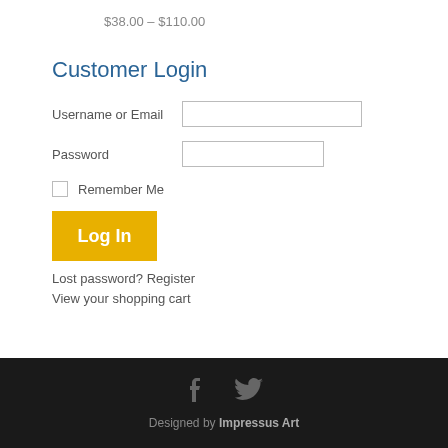$38.00 – $110.00
Customer Login
Username or Email [input field]
Password [input field]
Remember Me [checkbox]
Log In [button]
Lost password? Register
View your shopping cart
Designed by Impressus Art